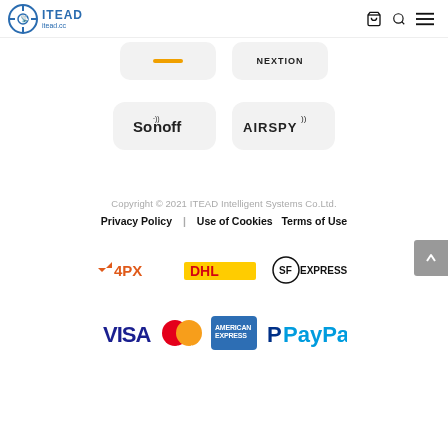ITEAD itead.cc
[Figure (logo): Sonoff brand logo on grey rounded card]
[Figure (logo): Airspy brand logo on grey rounded card]
Copyright © 2021 ITEAD Intelligent Systems Co.Ltd.
Privacy Policy   Use of Cookies   Terms of Use
[Figure (logo): Shipping logos: 4PX, DHL, SF Express]
[Figure (logo): Payment logos: VISA, Mastercard, American Express, PayPal]